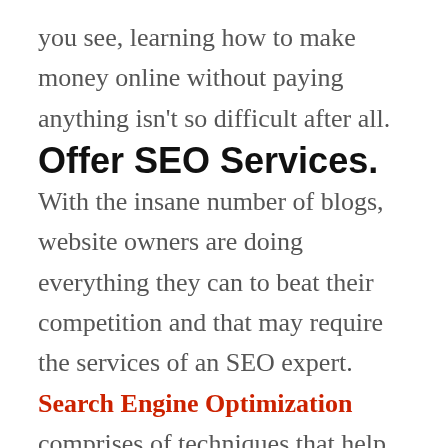you see, learning how to make money online without paying anything isn't so difficult after all.
Offer SEO Services.
With the insane number of blogs, website owners are doing everything they can to beat their competition and that may require the services of an SEO expert. Search Engine Optimization comprises of techniques that help websites rank